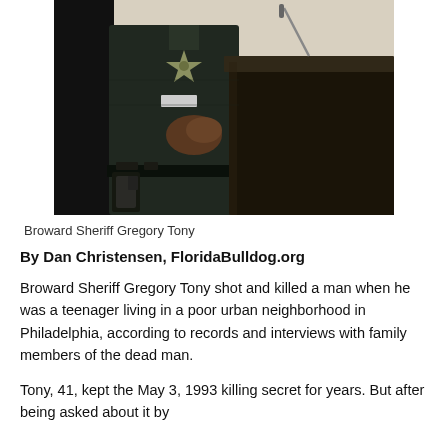[Figure (photo): A Broward Sheriff in dark green uniform standing at a dark wooden podium with a microphone, hands clasped. A holster and badge are visible.]
Broward Sheriff Gregory Tony
By Dan Christensen, FloridaBulldog.org
Broward Sheriff Gregory Tony shot and killed a man when he was a teenager living in a poor urban neighborhood in Philadelphia, according to records and interviews with family members of the dead man.
Tony, 41, kept the May 3, 1993 killing secret for years. But after being asked about it by